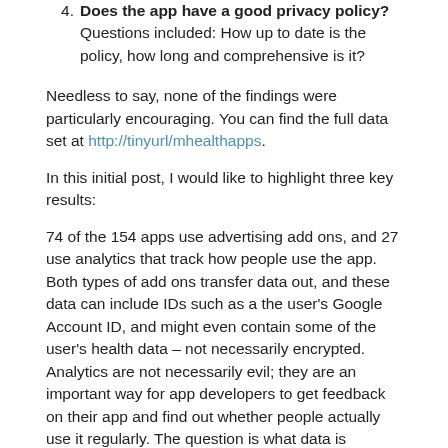Does the app have a good privacy policy? Questions included: How up to date is the policy, how long and comprehensive is it?
Needless to say, none of the findings were particularly encouraging. You can find the full data set at http://tinyurl/mhealthapps.
In this initial post, I would like to highlight three key results:
74 of the 154 apps use advertising add ons, and 27 use analytics that track how people use the app. Both types of add ons transfer data out, and these data can include IDs such as a the user’s Google Account ID, and might even contain some of the user’s health data – not necessarily encrypted. Analytics are not necessarily evil; they are an important way for app developers to get feedback on their app and find out whether people actually use it regularly. The question is what data is transmitted, and how.
All apps need to have a certificate before they can be installed on a mobile phone, be it Apple or Android, to indicate who is responsible for the app. While there are external certificate providers, all of the apps we tested had self-signed certificates, and only 40 provided more information than the name of the developer. 92% used the most basic